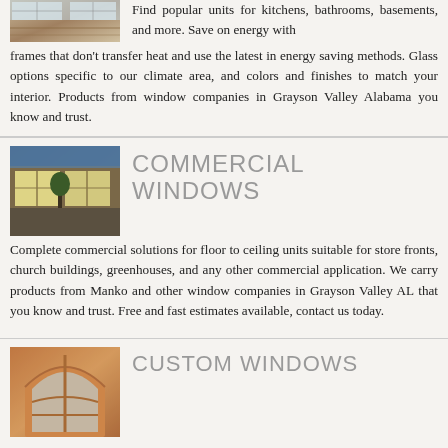[Figure (photo): Interior photo showing residential window or flooring area]
Find popular units for kitchens, bathrooms, basements, and more. Save on energy with frames that don't transfer heat and use the latest in energy saving methods. Glass options specific to our climate area, and colors and finishes to match your interior. Products from window companies in Grayson Valley Alabama you know and trust.
[Figure (photo): Exterior photo of commercial building with large windows at night]
COMMERCIAL WINDOWS
Complete commercial solutions for floor to ceiling units suitable for store fronts, church buildings, greenhouses, and any other commercial application. We carry products from Manko and other window companies in Grayson Valley AL that you know and trust. Free and fast estimates available, contact us today.
[Figure (photo): Interior photo of custom arched wooden window]
CUSTOM WINDOWS